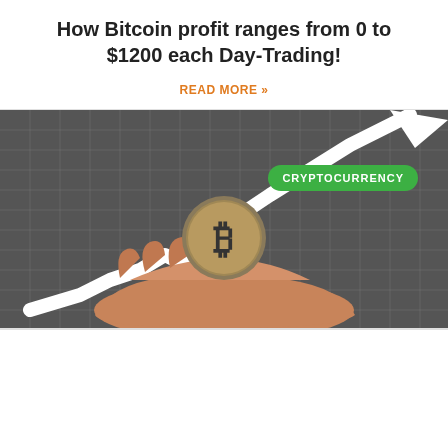How Bitcoin profit ranges from 0 to $1200 each Day-Trading!
READ MORE »
[Figure (photo): A hand holding a Bitcoin coin in front of a rising white arrow chart on a dark grid background, with a green 'CRYPTOCURRENCY' badge in the upper right corner.]